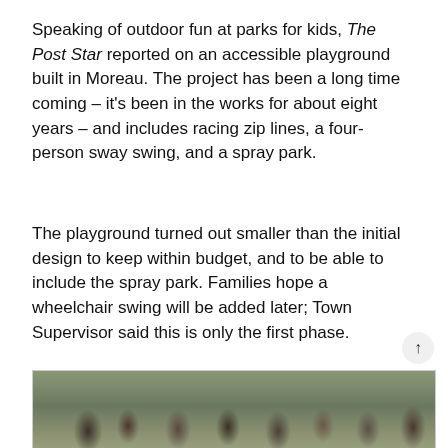Speaking of outdoor fun at parks for kids, The Post Star reported on an accessible playground built in Moreau. The project has been a long time coming – it's been in the works for about eight years – and includes racing zip lines, a four-person sway swing, and a spray park.
The playground turned out smaller than the initial design to keep within budget, and to be able to include the spray park. Families hope a wheelchair swing will be added later; Town Supervisor said this is only the first phase.
[Figure (photo): Crowd of people, including children and adults, gathered indoors at what appears to be a community event or sale, with clothing racks visible in the background.]